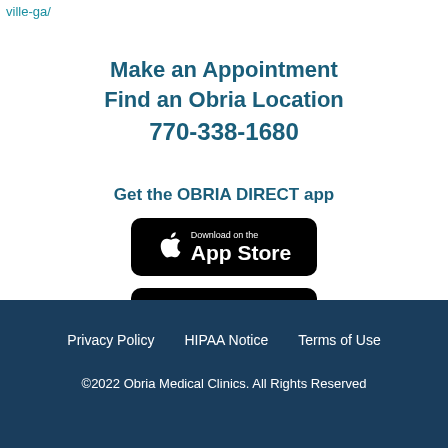ville-ga/
Make an Appointment
Find an Obria Location
770-338-1680
Get the OBRIA DIRECT app
[Figure (illustration): Download on the App Store badge (black rounded rectangle with Apple logo)]
[Figure (illustration): GET IT ON Google Play badge (black rounded rectangle with Google Play triangle logo)]
Privacy Policy   HIPAA Notice   Terms of Use
©2022 Obria Medical Clinics. All Rights Reserved